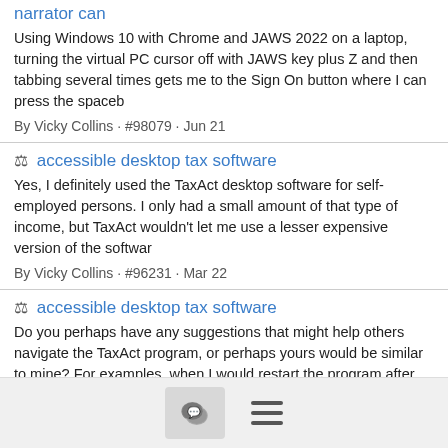narrator can
Using Windows 10 with Chrome and JAWS 2022 on a laptop, turning the virtual PC cursor off with JAWS key plus Z and then tabbing several times gets me to the Sign On button where I can press the spaceb
By Vicky Collins · #98079 · Jun 21
⚖ accessible desktop tax software
Yes, I definitely used the TaxAct desktop software for self-employed persons. I only had a small amount of that type of income, but TaxAct wouldn't let me use a lesser expensive version of the softwar
By Vicky Collins · #96231 · Mar 22
⚖ accessible desktop tax software
Do you perhaps have any suggestions that might help others navigate the TaxAct program, or perhaps yours would be similar to mine? For examples, when I would restart the program after walking away for
[Figure (other): Bottom navigation bar with a chat bubble icon button and a hamburger menu icon]